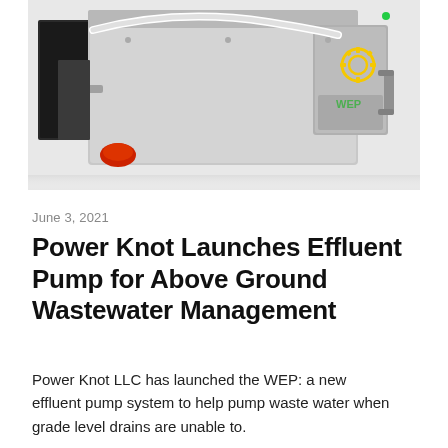[Figure (photo): Industrial WEP effluent pump machine with metal housing, white hose/tubing, chrome fittings, red component, and Power Knot logo (yellow gear icon and green text) on right side, photographed at an angle on white background.]
June 3, 2021
Power Knot Launches Effluent Pump for Above Ground Wastewater Management
Power Knot LLC has launched the WEP: a new effluent pump system to help pump waste water when grade level drains are unable to.